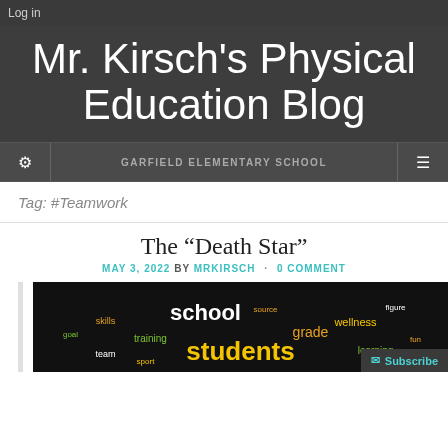Log in
Mr. Kirsch's Physical Education Blog
GARFIELD ELEMENTARY SCHOOL
Tag: #Teamwork
The “Death Star”
MAY 3, 2022 BY MRKIRSCH · 0 COMMENT
[Figure (illustration): Word cloud image on black background featuring words like 'school', 'students', 'grade', 'wellness', 'learning' and others in various colors including yellow, orange, green, and white.]